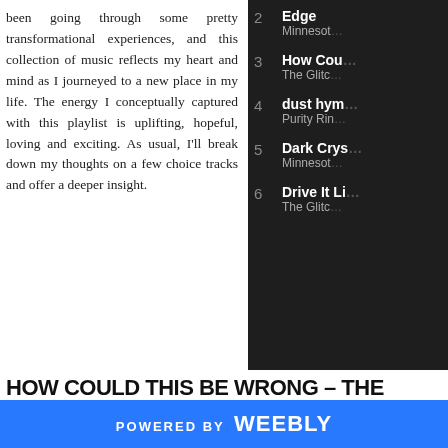been going through some pretty transformational experiences, and this collection of music reflects my heart and mind as I journeyed to a new place in my life. The energy I conceptually captured with this playlist is uplifting, hopeful, loving and exciting. As usual, I'll break down my thoughts on a few choice tracks and offer a deeper insight.
2  Edge  Minnesota
3  How Cou...  The Glitc...
4  dust hym...  Purity Rin...
5  Dark Crys...  Minnesot...
6  Drive It Li...  The Glitc...
How Could This Be Wrong – The Glitch Mob
The long awaited return of the Glitch Mob has come to reality. This was... upcoming album See Without Eyes (out May 4th!). The first drop is everyth... song, deep penetrating bass with the overlayers of ethereal synthy magi... This song found me at a turning point in my life, a time that I allowed myse... was scared to fall into. But hearing this song for the first time, the morning...
POWERED BY weebly